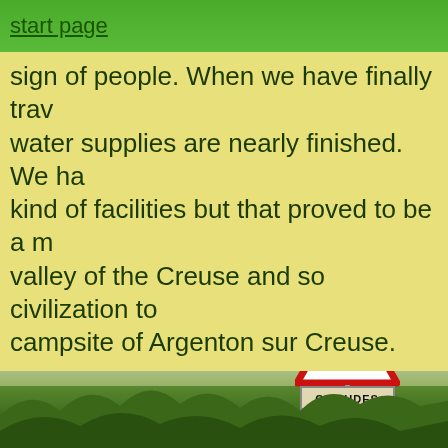start page
p...y...g sign of people. When we have finally trav water supplies are nearly finished. We ha kind of facilities but that proved to be a m valley of the Creuse and so civilization to campsite of Argenton sur Creuse.
[Figure (photo): Outdoor photo showing a French road warning sign in a triangular shape with red border, featuring a silhouette of a tortoise/turtle, with a rectangular sign below reading 'CISTUDES', set against a backdrop of trees/vegetation and cloudy sky.]